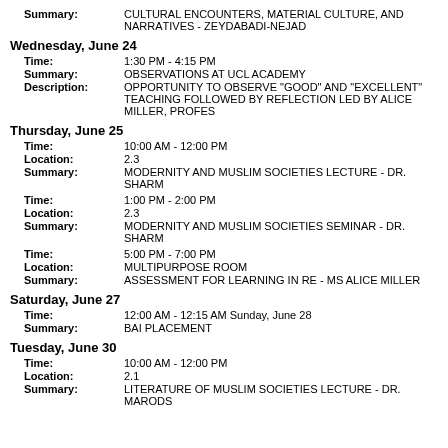Summary: CULTURAL ENCOUNTERS, MATERIAL CULTURE, AND NARRATIVES - ZEYDABADI-NEJAD
Wednesday, June 24
Time: 1:30 PM - 4:15 PM
Summary: OBSERVATIONS AT UCL ACADEMY
Description: OPPORTUNITY TO OBSERVE "GOOD" AND "EXCELLENT" TEACHING FOLLOWED BY REFLECTION LED BY ALICE MILLER, PROFES...
Thursday, June 25
Time: 10:00 AM - 12:00 PM
Location: 2.3
Summary: MODERNITY AND MUSLIM SOCIETIES LECTURE - DR. SHARM...
Time: 1:00 PM - 2:00 PM
Location: 2.3
Summary: MODERNITY AND MUSLIM SOCIETIES SEMINAR - DR. SHARM...
Time: 5:00 PM - 7:00 PM
Location: MULTIPURPOSE ROOM
Summary: ASSESSMENT FOR LEARNING IN RE - MS ALICE MILLER
Saturday, June 27
Time: 12:00 AM - 12:15 AM Sunday, June 28
Summary: BAI PLACEMENT
Tuesday, June 30
Time: 10:00 AM - 12:00 PM
Location: 2.1
Summary: LITERATURE OF MUSLIM SOCIETIES LECTURE - DR. MARODS...